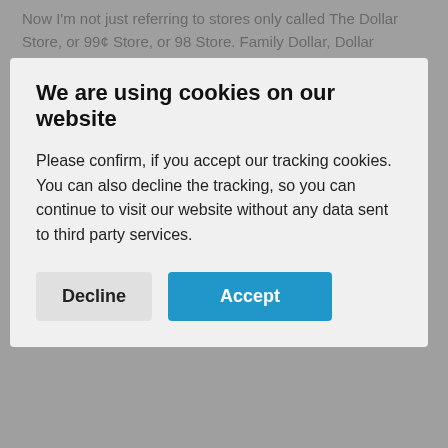Now I'm not just referring to stores only called The Dollar Store, or 99¢ Store, or 98 Store. Family Dollar, Dollar General, you get the picture. Any store which carries items close the price of a dollar or above. So, I'm not saying stop by a store like that. I'm a well-respected middle class citizen. Before you stop reading though, hear me out. This isn't a place to be embarrassed with planning to, it's just a place to save money on essential items... and also you can save a variety of it!
We are using cookies on our website
Please confirm, if you accept our tracking cookies. You can also decline the tracking, so you can continue to visit our website without any data sent to third party services.
What can you do having an extra 20.00 a month, 240.00 per year? Save 20.00 or more by switching these 10 purchases for the Dollar Tree without sacrificing quality whatsoever! The store even carries most of the brands you are already buying. You'll just need to go to Dollar General Nearby and see for yourself which products you can move to purchasing at the dollar store. These are only some of the items I